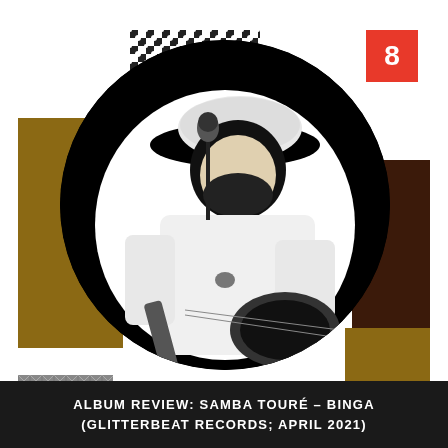[Figure (photo): Album review cover art: collage of decorative African textile patterns in gold, brown, black and grey. Center features a circular black-and-white high-contrast image of a male musician wearing a wide-brimmed hat, singing into a microphone while playing an electric guitar. A red badge with the number 8 appears in the upper right corner.]
ALBUM REVIEW: SAMBA TOURÉ – BINGA (GLITTERBEAT RECORDS; APRIL 2021)